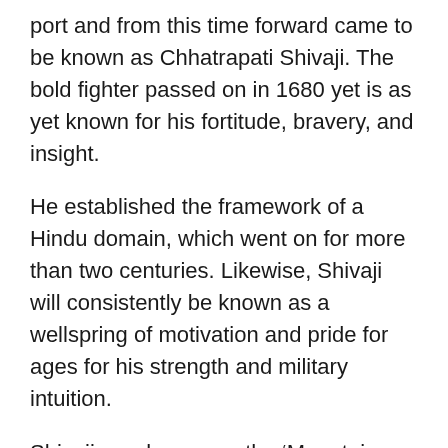port and from this time forward came to be known as Chhatrapati Shivaji. The bold fighter passed on in 1680 yet is as yet known for his fortitude, bravery, and insight.
He established the framework of a Hindu domain, which went on for more than two centuries. Likewise, Shivaji will consistently be known as a wellspring of motivation and pride for ages for his strength and military intuition.
Shivaji was known as the ‘Mountain Rat’ as a result of his familiarity with the geology of his property and freedom fighter strategies like assaulting, ambushing, and shock assaults on his adversaries. The birthday is praised for a tremendous scope, and